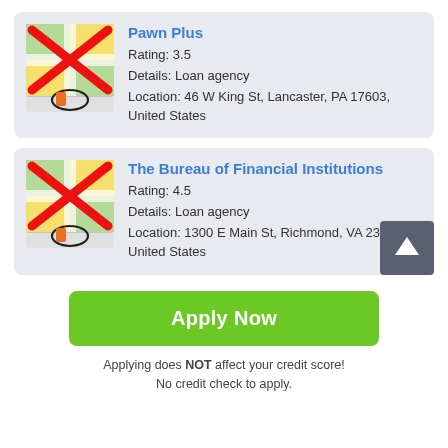[Figure (illustration): Map icon with red X overlay and location pin, representing Pawn Plus listing]
Pawn Plus
Rating: 3.5
Details: Loan agency
Location: 46 W King St, Lancaster, PA 17603, United States
[Figure (illustration): Map icon with red X overlay and location pin, representing The Bureau of Financial Institutions listing]
The Bureau of Financial Institutions
Rating: 4.5
Details: Loan agency
Location: 1300 E Main St, Richmond, VA 23219, United States
Apply Now
Applying does NOT affect your credit score!
No credit check to apply.